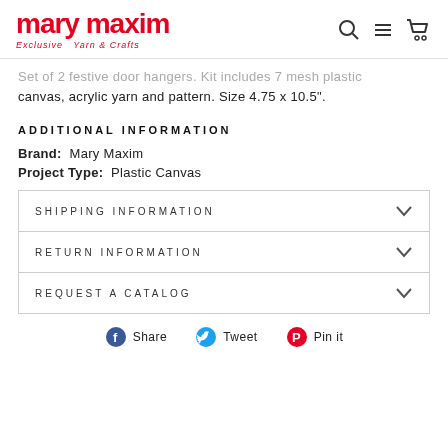mary maxim Exclusive Yarn & Crafts
...canvas, acrylic yarn and pattern. Size 4.75 x 10.5".
ADDITIONAL INFORMATION
Brand: Mary Maxim
Project Type: Plastic Canvas
SHIPPING INFORMATION
RETURN INFORMATION
REQUEST A CATALOG
Share   Tweet   Pin it